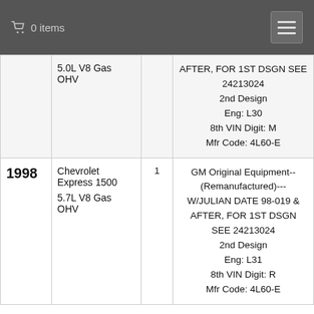0 items
| Year | Vehicle | Qty | Notes |
| --- | --- | --- | --- |
|  | 5.0L V8 Gas OHV |  | AFTER, FOR 1ST DSGN SEE 24213024
2nd Design
Eng: L30
8th VIN Digit: M
Mfr Code: 4L60-E |
| 1998 | Chevrolet Express 1500
5.7L V8 Gas OHV | 1 | GM Original Equipment--(Remanufactured)---W/JULIAN DATE 98-019 & AFTER, FOR 1ST DSGN SEE 24213024
2nd Design
Eng: L31
8th VIN Digit: R
Mfr Code: 4L60-E |